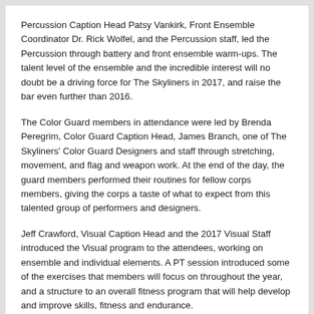Percussion Caption Head Patsy Vankirk, Front Ensemble Coordinator Dr. Rick Wolfel, and the Percussion staff, led the Percussion through battery and front ensemble warm-ups. The talent level of the ensemble and the incredible interest will no doubt be a driving force for The Skyliners in 2017, and raise the bar even further than 2016.
The Color Guard members in attendance were led by Brenda Peregrim, Color Guard Caption Head, James Branch, one of The Skyliners' Color Guard Designers and staff through stretching, movement, and flag and weapon work. At the end of the day, the guard members performed their routines for fellow corps members, giving the corps a taste of what to expect from this talented group of performers and designers.
Jeff Crawford, Visual Caption Head and the 2017 Visual Staff introduced the Visual program to the attendees, working on ensemble and individual elements. A PT session introduced some of the exercises that members will focus on throughout the year, and a structure to an overall fitness program that will help develop and improve skills, fitness and endurance.
The Skyliners thank everyone who attended today, everyone who helped set up, served lunch, cleaned up for the Open House, or